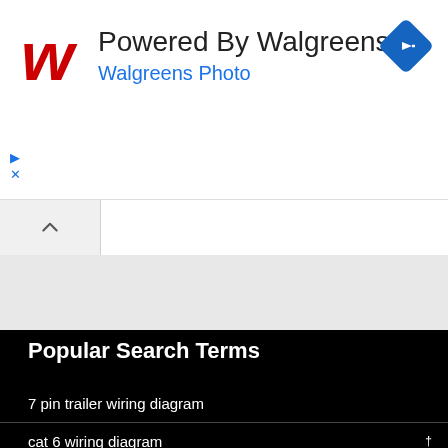[Figure (screenshot): Walgreens advertisement banner with Walgreens cursive logo in red, text 'Powered By Walgreens' in dark gray, 'Walgreens Photo' in blue, and a blue diamond navigation icon on the right. Play and close icons on the left side.]
[Figure (screenshot): Browser tab bar with an active tab showing a caret/up-arrow icon on a light gray background.]
Popular Search Terms
7 pin trailer wiring diagram
cat 6 wiring diagram
nu vot